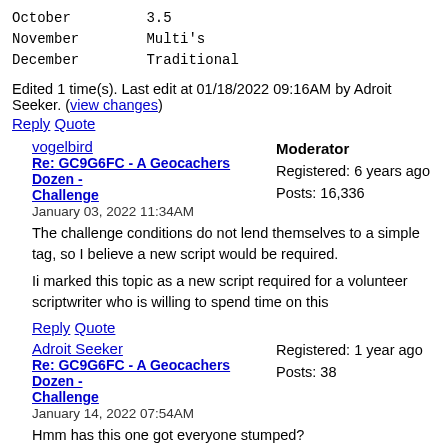October        3.5
November       Multi's
December       Traditional
Edited 1 time(s). Last edit at 01/18/2022 09:16AM by Adroit Seeker. (view changes)
Reply Quote
vogelbird
Re: GC9G6FC - A Geocachers Dozen - Challenge
January 03, 2022 11:34AM
Moderator
Registered: 6 years ago
Posts: 16,336
The challenge conditions do not lend themselves to a simple tag, so I believe a new script would be required.
Ii marked this topic as a new script required for a volunteer scriptwriter who is willing to spend time on this
Reply Quote
Adroit Seeker
Re: GC9G6FC - A Geocachers Dozen - Challenge
Registered: 1 year ago
Posts: 38
January 14, 2022 07:54AM
Hmm has this one got everyone stumped?
Reply Quote